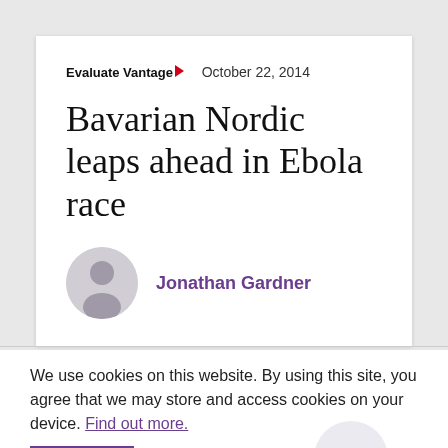Evaluate Vantage  October 22, 2014
Bavarian Nordic leaps ahead in Ebola race
Jonathan Gardner
We use cookies on this website. By using this site, you agree that we may store and access cookies on your device. Find out more.
OK